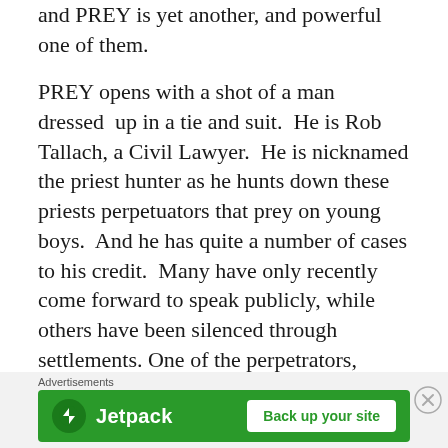and PREY is yet another, and powerful one of them.
PREY opens with a shot of a man dressed up in a tie and suit. He is Rob Tallach, a Civil Lawyer. He is nicknamed the priest hunter as he hunts down these priests perpetuators that prey on young boys. And he has quite a number of cases to his credit. Many have only recently come forward to speak publicly, while others have been silenced through settlements. One of the perpetrators, Father Rod Marshall, (interviewed in the movie when he was still
Advertisements
[Figure (other): Jetpack advertisement banner with logo and 'Back up your site' button on green background]